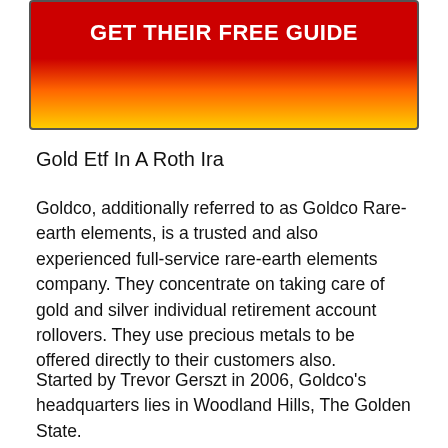[Figure (other): Red-to-gold gradient banner button with white bold text reading GET THEIR FREE GUIDE]
Gold Etf In A Roth Ira
Goldco, additionally referred to as Goldco Rare-earth elements, is a trusted and also experienced full-service rare-earth elements company. They concentrate on taking care of gold and silver individual retirement account rollovers. They use precious metals to be offered directly to their customers also.
Started by Trevor Gerszt in 2006, Goldco’s headquarters lies in Woodland Hills, The Golden State.